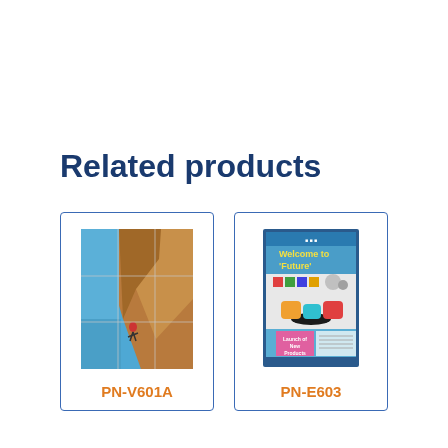Related products
[Figure (photo): Product card for PN-V601A showing a rock climber on a cliff face displayed across a 3x3 video wall]
PN-V601A
[Figure (photo): Product card for PN-E603 showing a display screen with 'Welcome to Future!' content and colorful furniture]
PN-E603